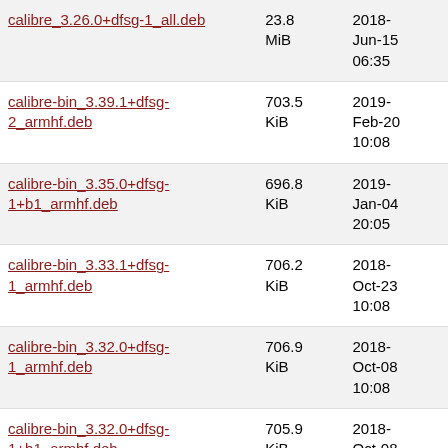| Filename | Size | Date |
| --- | --- | --- |
| calibre_3.26.0+dfsg-1_all.deb | 23.8 MiB | 2018-Jun-15 06:35 |
| calibre-bin_3.39.1+dfsg-2_armhf.deb | 703.5 KiB | 2019-Feb-20 10:08 |
| calibre-bin_3.35.0+dfsg-1+b1_armhf.deb | 696.8 KiB | 2019-Jan-04 20:05 |
| calibre-bin_3.33.1+dfsg-1_armhf.deb | 706.2 KiB | 2018-Oct-23 10:08 |
| calibre-bin_3.32.0+dfsg-1_armhf.deb | 706.9 KiB | 2018-Oct-08 10:08 |
| calibre-bin_3.32.0+dfsg-1+b1_armhf.deb | 705.9 KiB | 2018-Oct-08 21:27 |
| calibre-bin_3.31.0+dfsg-1_armhf.deb | 746.6 KiB | 2018-Sep-12 10:08 |
| calibre-bin_3.30.0+dfsg-1_armhf.deb.URL | 192 B | 2018-Sep-07 03:34 |